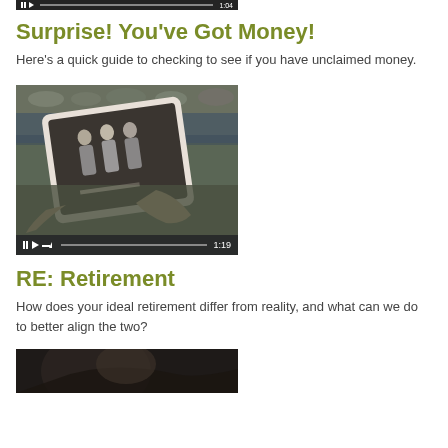[Figure (screenshot): Bottom edge of a video player thumbnail with playback controls and timestamp 1:04]
Surprise! You've Got Money!
Here's a quick guide to checking to see if you have unclaimed money.
[Figure (screenshot): Video thumbnail showing a person holding a tablet with elderly people displayed on screen; playback controls and timestamp 1:19 visible]
RE: Retirement
How does your ideal retirement differ from reality, and what can we do to better align the two?
[Figure (screenshot): Partial view of another video thumbnail showing dark image, cropped at page bottom]